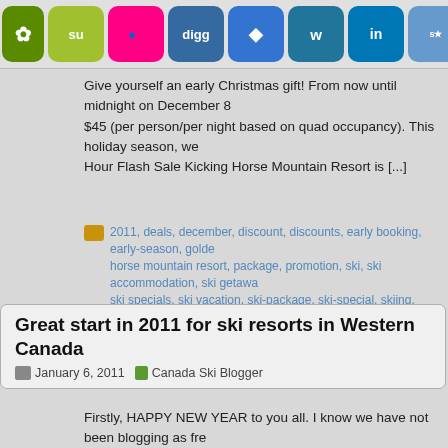[Figure (screenshot): Row of social media share buttons/icons including StumbleUpon, Flickr, Digg, Delicious, WordPress, LinkedIn, MySpace, Reddit, Google Chat, Facebook, Twitter, RSS]
Give yourself an early Christmas gift! From now until midnight on December 8 $45 (per person/per night based on quad occupancy). This holiday season, we Hour Flash Sale Kicking Horse Mountain Resort is [...]
2011, deals, december, discount, discounts, early booking, early-season, golde horse mountain resort, package, promotion, ski, ski accommodation, ski getawa ski specials, ski vacation, ski-package, ski-special, skiing, snow, specials | none
Great start in 2011 for ski resorts in Western Canada
January 6, 2011   Canada Ski Blogger
Firstly, HAPPY NEW YEAR to you all. I know we have not been blogging as fre last 12-24 hours, ski resorts in Western Canada have been receiving a nice bi Rockies [...]
2011, 50%, banff, banff-national-park, best, blackcomb, boarding, calgary, Can rockies, children-free, conditions, deals, discount, discounts, early booking, ear hotel, information, jasper, jasper marmot basin, kicking horse, kicking horse mc kimberley, lake louise, lake-louise-ski-area, lift pass, lift-passes, mountain, new